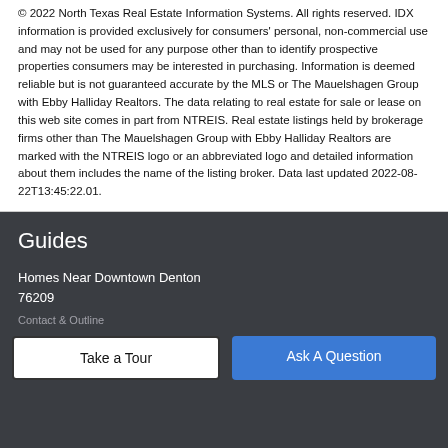© 2022 North Texas Real Estate Information Systems. All rights reserved. IDX information is provided exclusively for consumers' personal, non-commercial use and may not be used for any purpose other than to identify prospective properties consumers may be interested in purchasing. Information is deemed reliable but is not guaranteed accurate by the MLS or The Mauelshagen Group with Ebby Halliday Realtors. The data relating to real estate for sale or lease on this web site comes in part from NTREIS. Real estate listings held by brokerage firms other than The Mauelshagen Group with Ebby Halliday Realtors are marked with the NTREIS logo or an abbreviated logo and detailed information about them includes the name of the listing broker. Data last updated 2022-08-22T13:45:22.01.
Guides
Homes Near Downtown Denton
76209
Contact & Outline
Take a Tour
Ask A Question